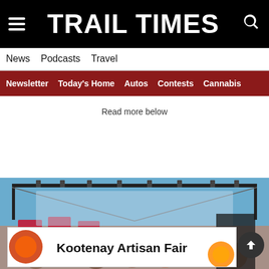TRAIL TIMES
News  Podcasts  Travel
Newsletter  Today's Home  Autos  Contests  Cannabis
Read more below
[Figure (photo): Crowd of people waving Canadian flags at an outdoor event, with a stage structure visible against a blue sky]
[Figure (infographic): Advertisement banner reading 'Kootenay Artisan Fair' with decorative elements on the sides]